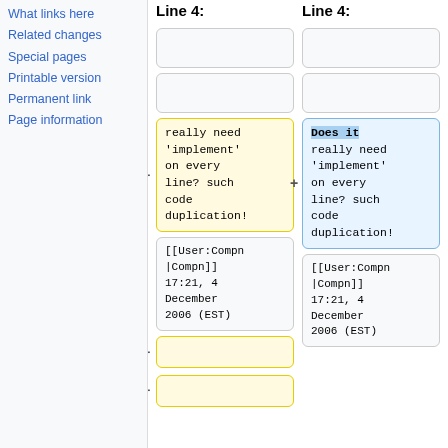What links here
Related changes
Special pages
Printable version
Permanent link
Page information
Line 4: (left column header)
Line 4: (right column header)
really need 'implement' on every line? such code duplication! (left diff cell, yellow)
Does it really need 'implement' on every line? such code duplication! (right diff cell, blue, 'Does it' highlighted)
[[User:Compn|Compn]] 17:21, 4 December 2006 (EST) (left)
[[User:Compn|Compn]] 17:21, 4 December 2006 (EST) (right)
(small yellow cell left)
(small yellow cell left)